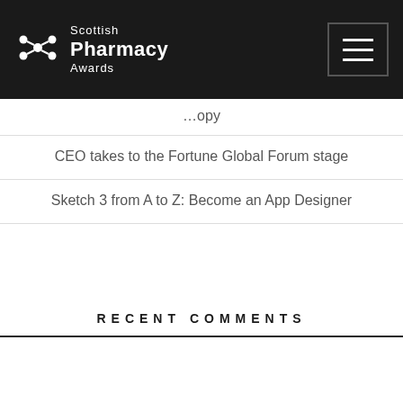Scottish Pharmacy Awards
CEO takes to the Fortune Global Forum stage
Sketch 3 from A to Z: Become an App Designer
RECENT COMMENTS
ARCHIVES
November 2020